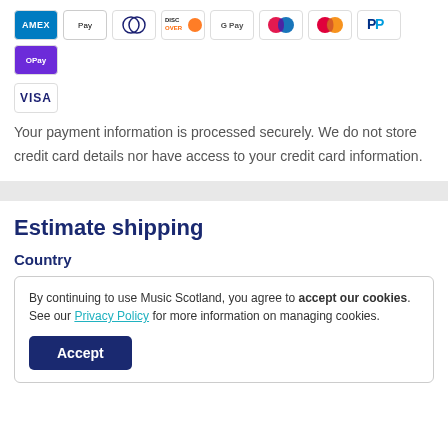[Figure (other): Payment method icons: American Express, Apple Pay, Diners Club, Discover, Google Pay, two circle logos (Mastercard/other), PayPal, O Pay, Visa]
Your payment information is processed securely. We do not store credit card details nor have access to your credit card information.
Estimate shipping
Country
By continuing to use Music Scotland, you agree to accept our cookies. See our Privacy Policy for more information on managing cookies.